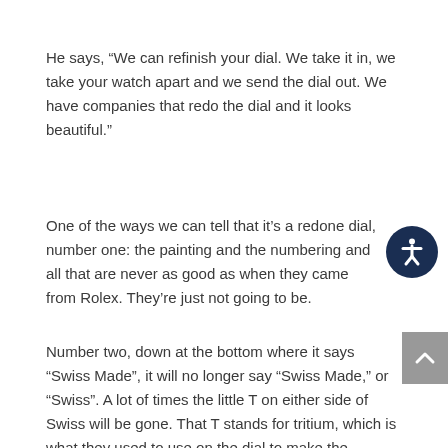He says, “We can refinish your dial. We take it in, we take your watch apart and we send the dial out. We have companies that redo the dial and it looks beautiful.”
One of the ways we can tell that it’s a redone dial, number one: the painting and the numbering and all that are never as good as when they came from Rolex. They’re just not going to be.
Number two, down at the bottom where it says “Swiss Made”, it will no longer say “Swiss Made,” or “Swiss”. A lot of times the little T on either side of Swiss will be gone. That T stands for tritium, which is what they used to use on the dial to make the numbers glow.